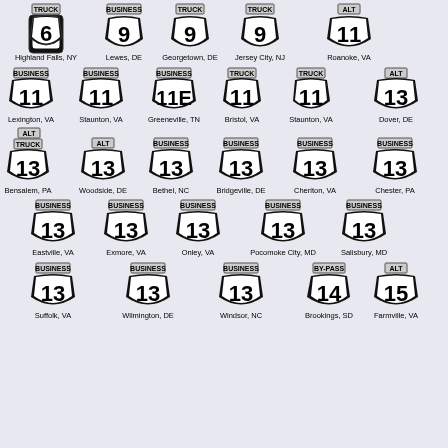[Figure (infographic): US highway route signs with auxiliary banners (TRUCK, BUSINESS, ALT, BY-PASS) for routes 6, 9, 9, 9, 11, 11, 11, 11E, 11, 11, 13, 13, 13, 13, 13, 13, 13, 13, 13, 13, 13, 13, 14, 15 with city/state labels]
Highland Falls, NY | Lewes, DE | Georgetown, DE | Jersey City, NJ | Roanoke, VA | Lexington, VA | Staunton, VA | Greeneville, TN | Bristol, VA | Staunton, VA | Dover, DE | Bensalem, PA | Woodside, DE | Bethel, NC | Bridgeville, DE | Cheriton, VA | Chester, PA | Eastville, VA | Exmore, VA | Onley, VA | Pocomoke City, MD | Salisbury, MD | Suffolk, VA | Wilmington, DE | Windsor, NC | Brookings, SD | Farmville, VA